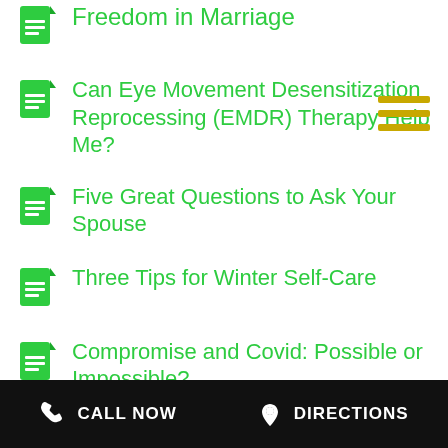Freedom in Marriage
Can Eye Movement Desensitization Reprocessing (EMDR) Therapy Help Me?
Five Great Questions to Ask Your Spouse
Three Tips for Winter Self-Care
Compromise and Covid: Possible or Impossible?
CALL NOW   DIRECTIONS